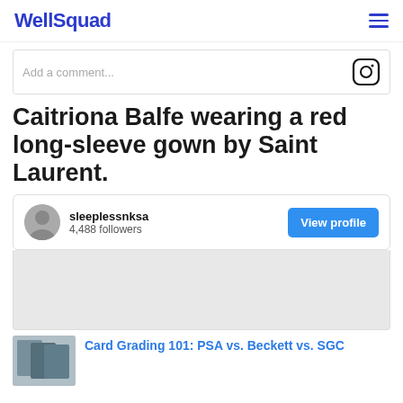WellSquad
[Figure (screenshot): Instagram comment input bar with camera/Instagram icon on the right]
Caitriona Balfe wearing a red long-sleeve gown by Saint Laurent.
[Figure (infographic): Instagram profile card for sleeplessnksa with 4,488 followers and a View profile button, plus a grey post image placeholder]
Card Grading 101: PSA vs. Beckett vs. SGC